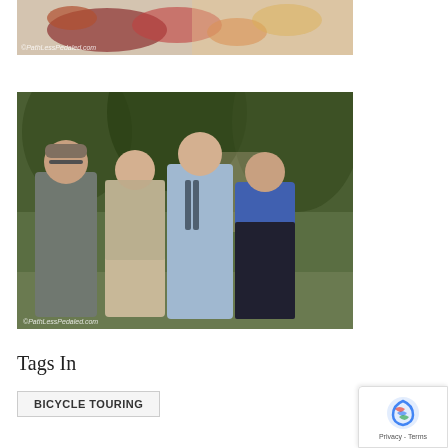[Figure (photo): Top portion of a food photo showing vegetables and possibly crawfish on a plate, with ©PathLessPedaled.com watermark]
[Figure (photo): Group photo of four people standing outdoors in a backyard/garden setting. From left: a man in gray shirt and cap with glasses, a woman in plaid shirt, a tall man in light blue shirt, and a woman in blue top. ©PathLessPedaled.com watermark visible at bottom left.]
Tags In
BICYCLE TOURING